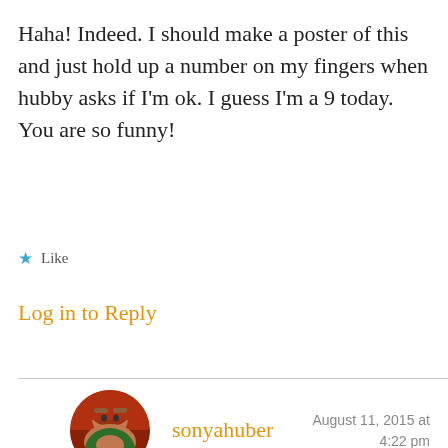Haha! Indeed. I should make a poster of this and just hold up a number on my fingers when hubby asks if I'm ok. I guess I'm a 9 today. You are so funny!
★ Like
Log in to Reply
sonyahuber  August 11, 2015 at 4:22 pm